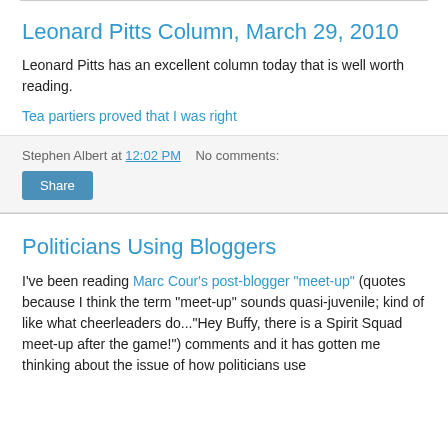Leonard Pitts Column, March 29, 2010
Leonard Pitts has an excellent column today that is well worth reading.
Tea partiers proved that I was right
Stephen Albert at 12:02 PM   No comments:
Share
Politicians Using Bloggers
I've been reading Marc Cour's post-blogger "meet-up" (quotes because I think the term "meet-up" sounds quasi-juvenile; kind of like what cheerleaders do..."Hey Buffy, there is a Spirit Squad meet-up after the game!") comments and it has gotten me thinking about the issue of how politicians use